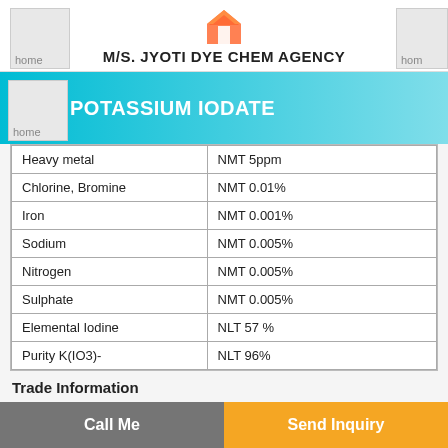M/S. JYOTI DYE CHEM AGENCY
POTASSIUM IODATE
| Heavy metal | NMT 5ppm |
| Chlorine, Bromine | NMT 0.01% |
| Iron | NMT 0.001% |
| Sodium | NMT 0.005% |
| Nitrogen | NMT 0.005% |
| Sulphate | NMT 0.005% |
| Elemental Iodine | NLT 57 % |
| Purity K(IO3)- | NLT 96% |
Trade Information
| Supply Ability | 1 Per Day |